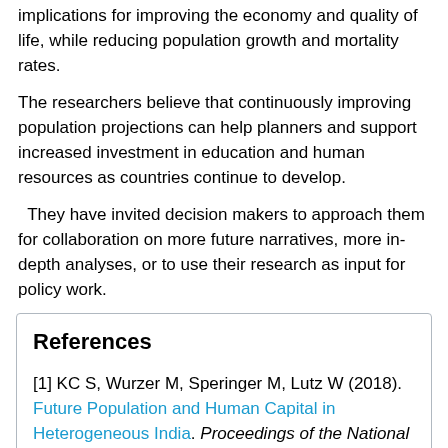implications for improving the economy and quality of life, while reducing population growth and mortality rates.
The researchers believe that continuously improving population projections can help planners and support increased investment in education and human resources as countries continue to develop.
They have invited decision makers to approach them for collaboration on more future narratives, more in-depth analyses, or to use their research as input for policy work.
References
[1] KC S, Wurzer M, Speringer M, Lutz W (2018). Future Population and Human Capital in Heterogeneous India. Proceedings of the National Academy of